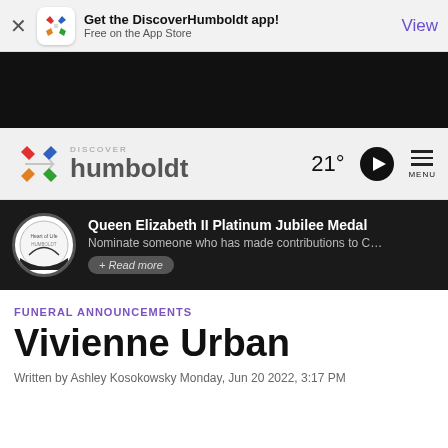[Figure (screenshot): App banner with DiscoverHumboldt logo, 'Get the DiscoverHumboldt app! Free on the App Store' text, and 'View' link]
[Figure (photo): Black advertisement area]
[Figure (logo): Discover Humboldt navigation bar with logo, 21° temperature, play button, and MENU icon]
[Figure (infographic): Dark promo banner: Queen Elizabeth II Platinum Jubilee Medal - Nominate someone who has made contributions to C... with + Read more button]
FUNERAL ANNOUNCEMENTS
Vivienne Urban
Written by Ashley Kosokowsky Monday, Jun 20 2022, 3:17 PM